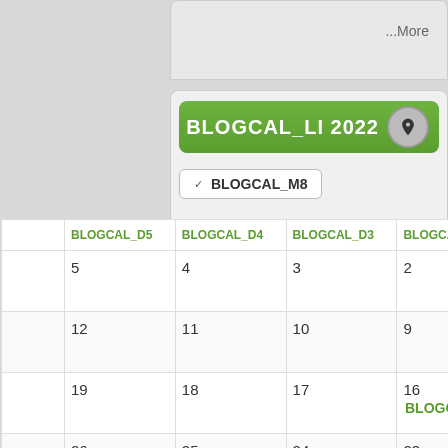...More
BLOGCAL_LI 2022
BLOGCAL_M8
|  | BLOGCAL_D5 | BLOGCAL_D4 | BLOGCAL_D3 | BLOGCAL_D2 | BLOGCAL_D1 |
| --- | --- | --- | --- | --- | --- |
|  | 5 | 4 | 3 | 2 | 1 |
|  | 12 | 11 | 10 | 9 | 8 |
|  | 19 | 18 | 17 | 16 | 15 |
|  | 26 | 25 | 24 | 23 | 22 |
|  |  |  | 31 | 30 | 29 |
BLOGCAL_L2